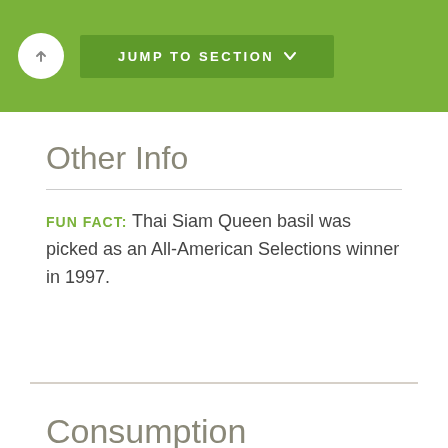JUMP TO SECTION
Other Info
FUN FACT: Thai Siam Queen basil was picked as an All-American Selections winner in 1997.
Consumption